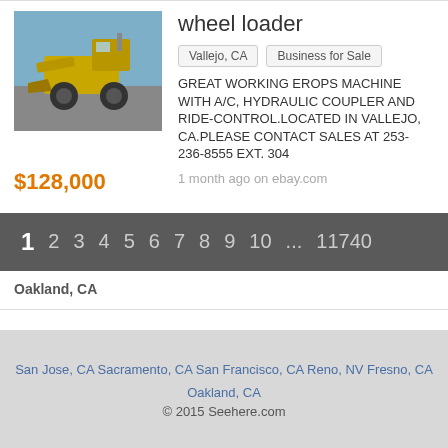[Figure (photo): Photo of a yellow wheel loader / front-end loader machine against a blue sky background]
wheel loader
Vallejo, CA   Business for Sale
GREAT WORKING EROPS MACHINE WITH A/C, HYDRAULIC COUPLER AND RIDE-CONTROL.LOCATED IN VALLEJO, CA.PLEASE CONTACT SALES AT 253-236-8555 EXT. 304
$128,000
1 month ago on ebay.com
1  2  3  4  5  6  7  8  9  10  ...  11740
Oakland, CA
San Jose, CA Sacramento, CA San Francisco, CA Reno, NV Fresno, CA Oakland, CA © 2015 Seehere.com